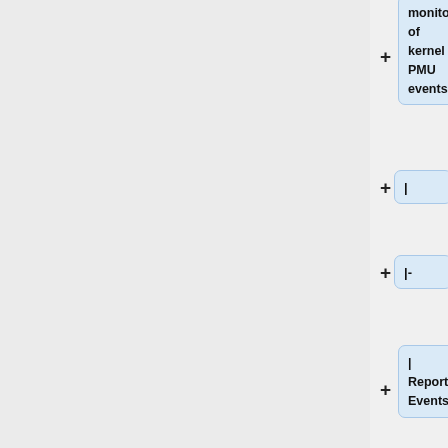[Figure (flowchart): A vertical tree/flowchart diagram showing expandable nodes with '+' buttons. Nodes include: 'monitoring of kernel PMU events', '|', '|-', '| ReportSoftware Events', '| Enable/disable monitoring of software vents', '|', '|-', '| EventList', '| Path to hardware events list file'. Left panel is gray background.]